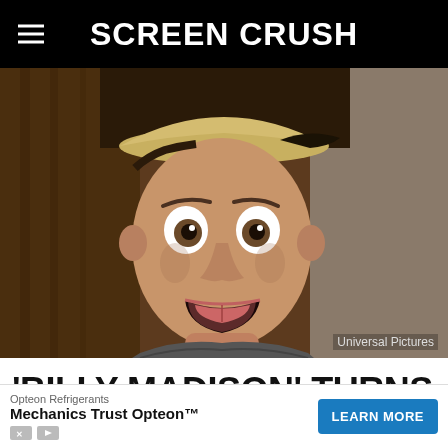Screen Crush
[Figure (photo): A surprised-looking young man wearing a backwards baseball cap, mouth open in shock expression, from the movie Billy Madison. Credit: Universal Pictures.]
Universal Pictures
'BILLY MADISON' TURNS 25 YEARS OLD TODAY
Opteon Refrigerants
Mechanics Trust Opteon™  LEARN MORE